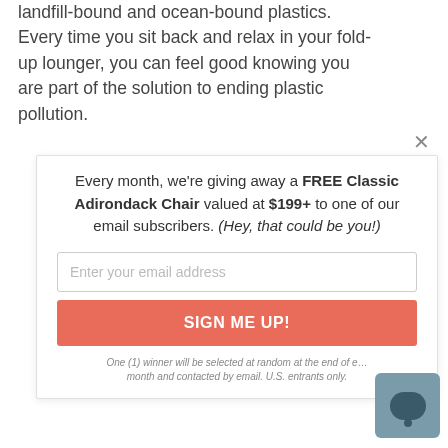landfill-bound and ocean-bound plastics. Every time you sit back and relax in your fold-up lounger, you can feel good knowing you are part of the solution to ending plastic pollution.
Every month, we're giving away a FREE Classic Adirondack Chair valued at $199+ to one of our email subscribers. (Hey, that could be you!)
Enter your email address
SIGN ME UP!
One (1) winner will be selected at random at the end of each month and contacted by email. U.S. entrants only.